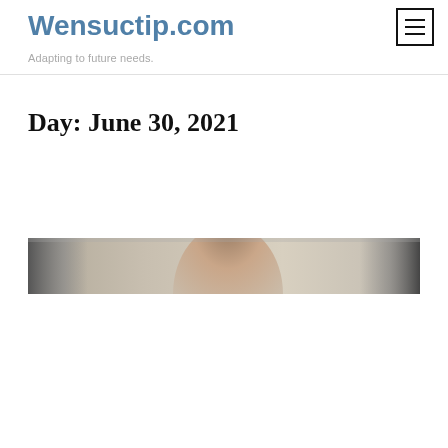Wensuctip.com
Adapting to future needs.
Day: June 30, 2021
[Figure (photo): A cropped banner photo showing a person, likely in a professional or casual setting, with a beige/neutral background. Only the upper portion of the person is visible.]